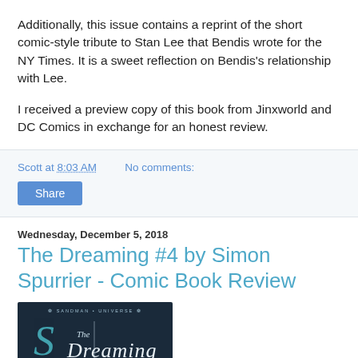Additionally, this issue contains a reprint of the short comic-style tribute to Stan Lee that Bendis wrote for the NY Times. It is a sweet reflection on Bendis's relationship with Lee.
I received a preview copy of this book from Jinxworld and DC Comics in exchange for an honest review.
Scott at 8:03 AM   No comments:
Share
Wednesday, December 5, 2018
The Dreaming #4 by Simon Spurrier - Comic Book Review
[Figure (photo): Book cover of The Dreaming from the Sandman Universe, showing the title in stylized script on a dark background with a sword motif. Text reads 'This is the stuff of our dreams and nightmares.']